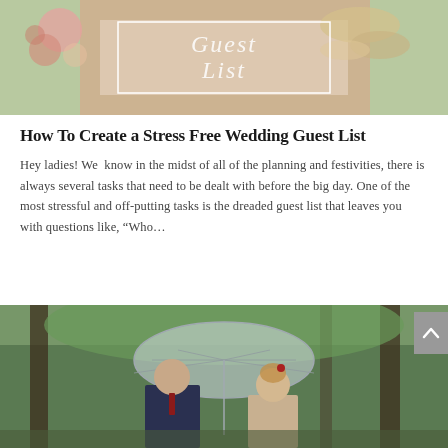[Figure (photo): Blog banner image for wedding guest list article showing decorative floral arrangement text overlay reading 'Guest List' on a pastel green and peach background]
How To Create a Stress Free Wedding Guest List
Hey ladies! We  know in the midst of all of the planning and festivities, there is always several tasks that need to be dealt with before the big day. One of the most stressful and off-putting tasks is the dreaded guest list that leaves you with questions like, “Who...
[Figure (photo): Wedding couple standing under a clear transparent umbrella outdoors in a wooded setting, groom in dark suit with red tie, bride with updo hairstyle with red flower]